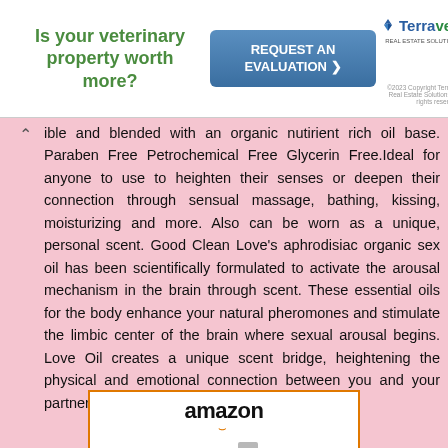[Figure (other): Advertisement banner: 'Is your veterinary property worth more?' with REQUEST AN EVALUATION button and Terravet Real Estate Solutions logo. Copyright 2023.]
ible and blended with an organic nutirient rich oil base. Paraben Free Petrochemical Free Glycerin Free.Ideal for anyone to use to heighten their senses or deepen their connection through sensual massage, bathing, kissing, moisturizing and more. Also can be worn as a unique, personal scent. Good Clean Love's aphrodisiac organic sex oil has been scientifically formulated to activate the arousal mechanism in the brain through scent. These essential oils for the body enhance your natural pheromones and stimulate the limbic center of the brain where sexual arousal begins. Love Oil creates a unique scent bridge, heightening the physical and emotional connection between you and your partner.
[Figure (photo): Amazon product listing image showing two Good Clean Love product bottles - one amber/golden dropper bottle and one gray/silver pump bottle.]